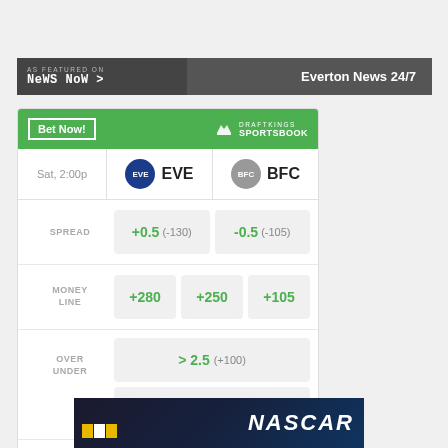[Figure (screenshot): News Now banner showing 'AS FEATURED ON News Now >' on the left and 'Everton News 24/7' on the right, dark gray background]
| Sat, 2:00p | EVE | BFC |
| SPREAD | +0.5  (-130) | -0.5  (-105) |
| MONEY LINE | +280 | +250 | +105 |
| OVER UNDER | > 2.5  (+100) | < 2.5  (-125) |
Odds/Lines subject to change. See draftkings.com for details.
[Figure (screenshot): NASCAR advertisement banner at the bottom in dark blue with NASCAR logo text]